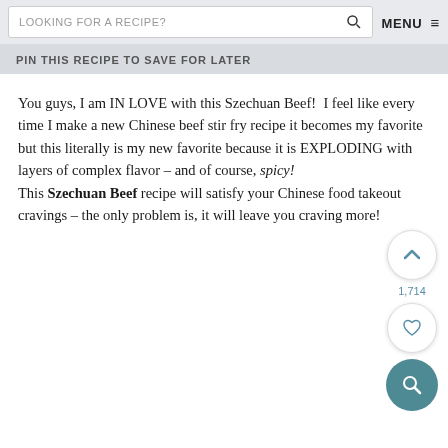LOOKING FOR A RECIPE?  MENU ≡
PIN THIS RECIPE TO SAVE FOR LATER
You guys, I am IN LOVE with this Szechuan Beef!  I feel like every time I make a new Chinese beef stir fry recipe it becomes my favorite but this literally is my new favorite because it is EXPLODING with layers of complex flavor – and of course, spicy! This Szechuan Beef recipe will satisfy your Chinese food takeout cravings – the only problem is, it will leave you craving more!
[Figure (infographic): Floating action buttons: up arrow circle, heart circle with count 1,714, teal search circle]